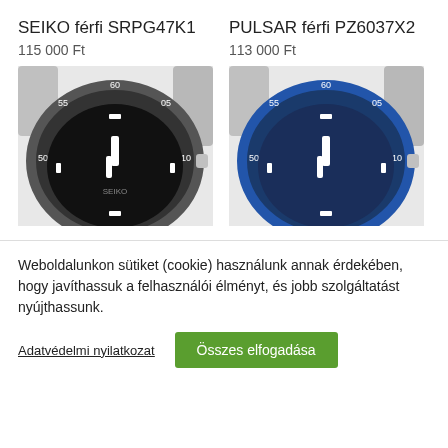SEIKO férfi SRPG47K1
115 000 Ft
[Figure (photo): Close-up of SEIKO férfi SRPG47K1 watch face showing black dial with bezel markings 50, 55, 60, 05, 10]
PULSAR férfi PZ6037X2
113 000 Ft
[Figure (photo): Close-up of PULSAR férfi PZ6037X2 watch face showing blue dial with bezel markings 50, 55, 60, 05, 10]
Weboldalunkon sütiket (cookie) használunk annak érdekében, hogy javíthassuk a felhasználói élményt, és jobb szolgáltatást nyújthassunk.
Adatvédelmi nyilatkozat
Összes elfogadása